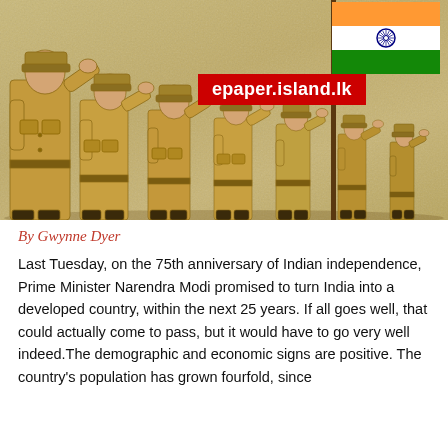[Figure (illustration): Illustration of Indian soldiers in uniform saluting, with the Indian national flag on a pole in the upper right. A red banner with white text reading 'epaper.island.lk' overlays the illustration. The background has a sandy/beige textured appearance.]
By Gwynne Dyer
Last Tuesday, on the 75th anniversary of Indian independence, Prime Minister Narendra Modi promised to turn India into a developed country, within the next 25 years. If all goes well, that could actually come to pass, but it would have to go very well indeed.The demographic and economic signs are positive. The country's population has grown fourfold, since